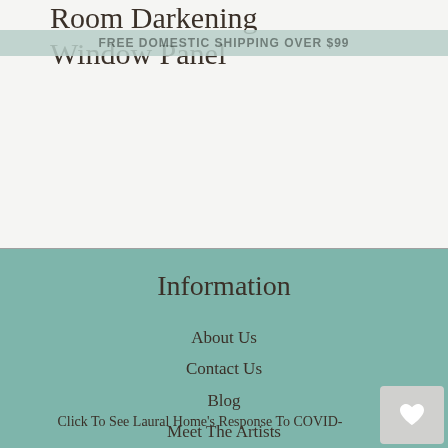FREE DOMESTIC SHIPPING OVER $99
Room Darkening Window Panel
Information
About Us
Contact Us
Blog
Meet The Artists
Become a Laural Artist
Wholesaler Inquiries
Click To See Laural Home's Response To COVID-